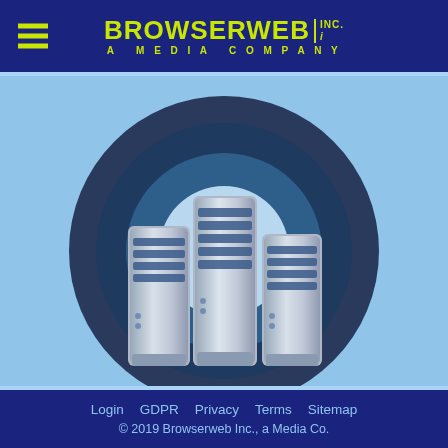BROWSERWEB INC. A MEDIA COMPANY
[Figure (illustration): Three metallic server towers/units arranged side by side with concentric dark navy and light blue circular arcs behind them, on a light blue background. The servers have a brushed metal appearance with blue accent stripes/vents.]
Login   GDPR   Privacy   Terms   Sitemap
© 2019 Browserweb Inc., a Media Co.